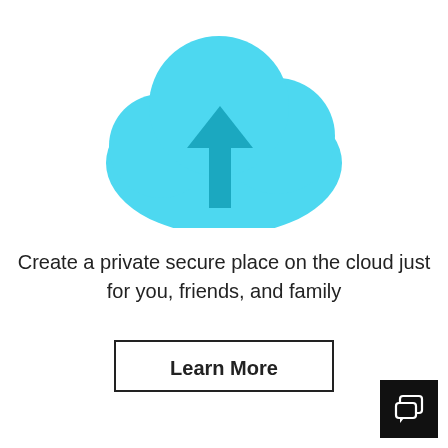[Figure (illustration): Light blue cloud icon with an upward-pointing arrow in a darker teal/blue color centered inside the cloud shape]
Create a private secure place on the cloud just for you, friends, and family
[Figure (other): Black square button with white speech/chat bubble icons in the bottom-right corner of the page]